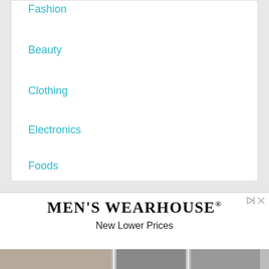Fashion
Beauty
Clothing
Electronics
Foods
Home & Garden
[Figure (screenshot): Advertisement banner for Men's Wearhouse with text 'New Lower Prices']
[Figure (photo): Photo strip showing partial images at the bottom of the page]